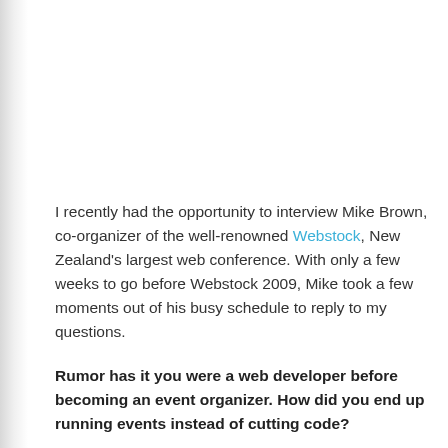I recently had the opportunity to interview Mike Brown, co-organizer of the well-renowned Webstock, New Zealand's largest web conference. With only a few weeks to go before Webstock 2009, Mike took a few moments out of his busy schedule to reply to my questions.
Rumor has it you were a web developer before becoming an event organizer. How did you end up running events instead of cutting code?
The programmers I used to work with would laugh